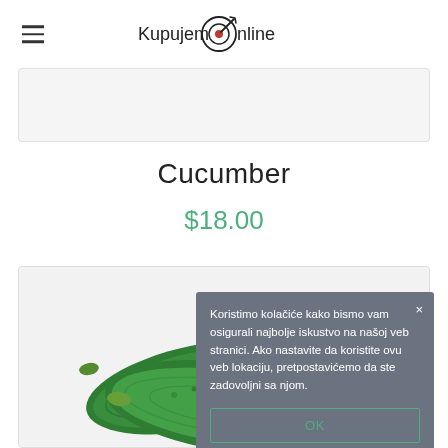KupujemOnline
[Figure (photo): Cucumber product image with two cucumbers on a light background]
Cucumber
$18.00
Koristimo kolačiće kako bismo vam osigurali najbolje iskustvo na našoj veb stranici. Ako nastavite da koristite ovu veb lokaciju, pretpostavićemo da ste zadovoljni sa njom.
OK